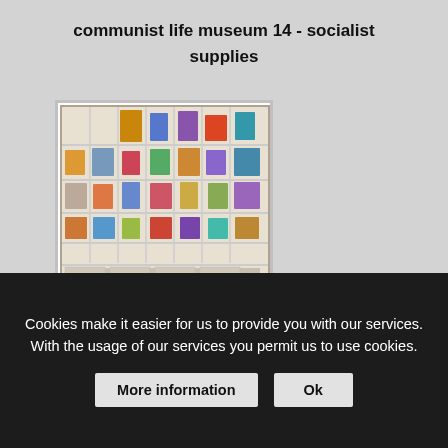communist life museum 14 - socialist supplies
[Figure (photo): A white shelf unit filled with various socialist-era toys, dolls, books, and small objects arranged in many compartments across multiple rows and columns.]
communist life museum 15 - socialist toys
Cookies make it easier for us to provide you with our services. With the usage of our services you permit us to use cookies.